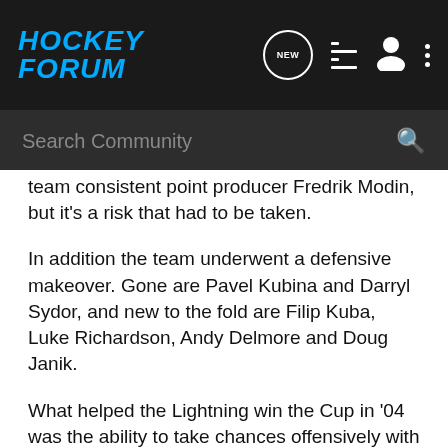HOCKEY FORUM
Search Community
team consistent point producer Fredrik Modin, but it's a risk that had to be taken.
In addition the team underwent a defensive makeover. Gone are Pavel Kubina and Darryl Sydor, and new to the fold are Filip Kuba, Luke Richardson, Andy Delmore and Doug Janik.
What helped the Lightning win the Cup in '04 was the ability to take chances offensively with the comfort that if there was a turnover it would be handled at the other end. That formula was rarely found a season ago, and that is the mission once again.
FORWARDS - Martin St. Louis saw a significant drop-off after winning the Hart Trophy in 2004. The small-statured winger's production fell from 94 points to 61, most of which came from a